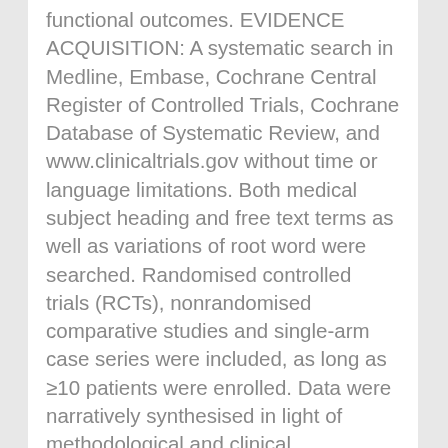functional outcomes. EVIDENCE ACQUISITION: A systematic search in Medline, Embase, Cochrane Central Register of Controlled Trials, Cochrane Database of Systematic Review, and www.clinicaltrials.gov without time or language limitations. Both medical subject heading and free text terms as well as variations of root word were searched. Randomised controlled trials (RCTs), nonrandomised comparative studies and single-arm case series were included, as long as ≥10 patients were enrolled. Data were narratively synthesised in light of methodological and clinical heterogeneity. The risk of bias of each included study was assessed. EVIDENCE SYNTHESIS: No RCTs were found. Six nonrandomised comparative studies and met inclusion criteria and were selected for data extraction. Noncomparative studies with more than 10 participants were